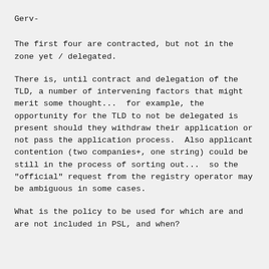Gerv-
The first four are contracted, but not in the zone yet / delegated.
There is, until contract and delegation of the TLD, a number of intervening factors that might merit some thought...  for example, the opportunity for the TLD to not be delegated is present should they withdraw their application or not pass the application process.  Also applicant contention (two companies+, one string) could be still in the process of sorting out...  so the "official" request from the registry operator may be ambiguous in some cases.
What is the policy to be used for which are and are not included in PSL, and when?